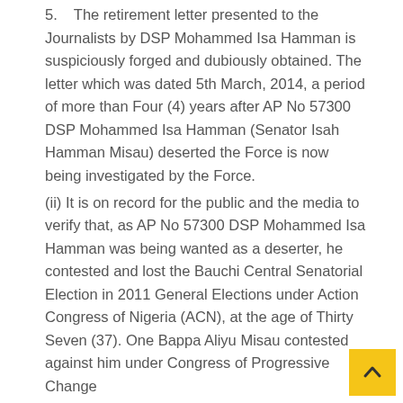5. The retirement letter presented to the Journalists by DSP Mohammed Isa Hamman is suspiciously forged and dubiously obtained. The letter which was dated 5th March, 2014, a period of more than Four (4) years after AP No 57300 DSP Mohammed Isa Hamman (Senator Isah Hamman Misau) deserted the Force is now being investigated by the Force.
(ii) It is on record for the public and the media to verify that, as AP No 57300 DSP Mohammed Isa Hamman was being wanted as a deserter, he contested and lost the Bauchi Central Senatorial Election in 2011 General Elections under Action Congress of Nigeria (ACN), at the age of Thirty Seven (37). One Bappa Aliyu Misau contested against him under Congress of Progressive Change